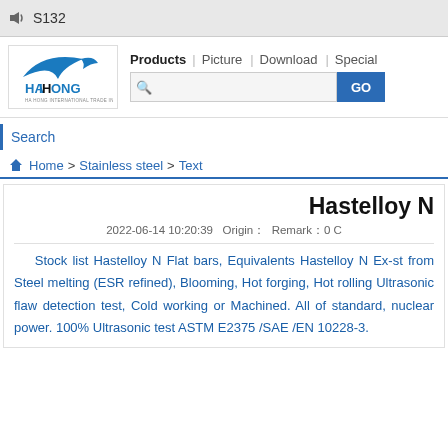S132
[Figure (logo): Haihong International Trade Inc. logo with blue swoosh design and company name]
Products | Picture | Download | Special
Search
Home > Stainless steel > Text
Hastelloy N
2022-06-14 10:20:39   Origin：  Remark：0 C
Stock list Hastelloy N Flat bars, Equivalents Hastelloy N Ex-st from Steel melting (ESR refined), Blooming, Hot forging, Hot rolling Ultrasonic flaw detection test, Cold working or Machined. All of standard, nuclear power. 100% Ultrasonic test ASTM E2375 /SAE /EN 10228-3.